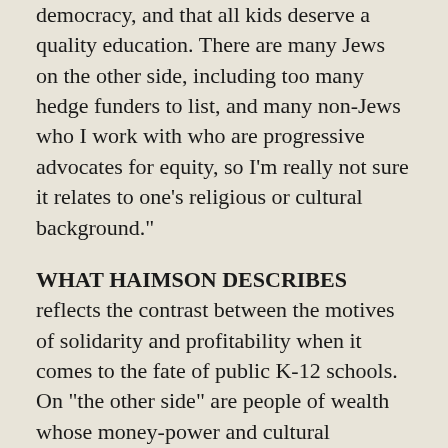democracy, and that all kids deserve a quality education. There are many Jews on the other side, including too many hedge funders to list, and many non-Jews who I work with who are progressive advocates for equity, so I'm really not sure it relates to one's religious or cultural background."
WHAT HAIMSON DESCRIBES reflects the contrast between the motives of solidarity and profitability when it comes to the fate of public K-12 schools. On "the other side" are people of wealth whose money-power and cultural influence seems to propel a top-down, vertical approach to education reform.
Jewish charter-school advocates include Eli Broad